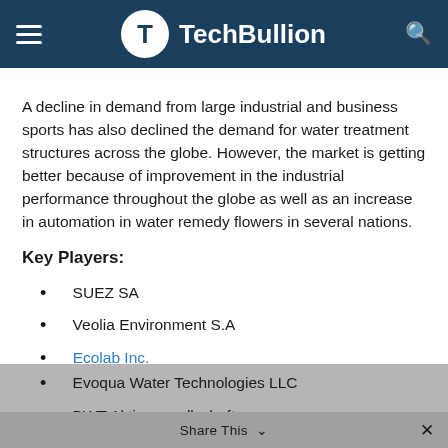TechBullion
A decline in demand from large industrial and business sports has also declined the demand for water treatment structures across the globe. However, the market is getting better because of improvement in the industrial performance throughout the globe as well as an increase in automation in water remedy flowers in several nations.
Key Players:
SUEZ SA
Veolia Environment S.A
Ecolab Inc.
Xylem Inc.
Pentair Plc
Evoqua Water Technologies LLC
BWT Aktiengesellschaft